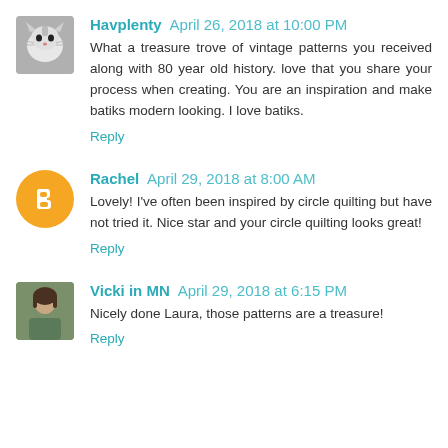Havplenty April 26, 2018 at 10:00 PM
What a treasure trove of vintage patterns you received along with 80 year old history. love that you share your process when creating. You are an inspiration and make batiks modern looking. I love batiks.
Reply
Rachel April 29, 2018 at 8:00 AM
Lovely! I've often been inspired by circle quilting but have not tried it. Nice star and your circle quilting looks great!
Reply
Vicki in MN April 29, 2018 at 6:15 PM
Nicely done Laura, those patterns are a treasure!
Reply